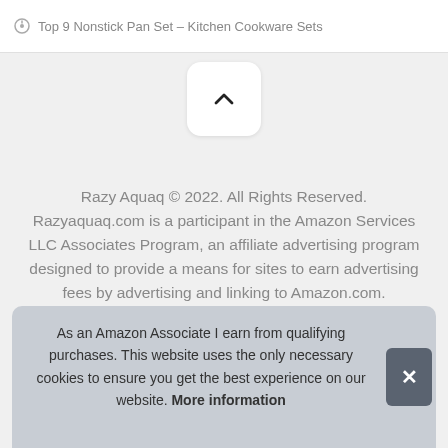Top 9 Nonstick Pan Set – Kitchen Cookware Sets
[Figure (other): A white rounded square button with an upward chevron (caret) arrow icon, used as a scroll-to-top button]
Razy Aquaq © 2022. All Rights Reserved. Razyaquaq.com is a participant in the Amazon Services LLC Associates Program, an affiliate advertising program designed to provide a means for sites to earn advertising fees by advertising and linking to Amazon.com.
As an Amazon Associate I earn from qualifying purchases. This website uses the only necessary cookies to ensure you get the best experience on our website. More information